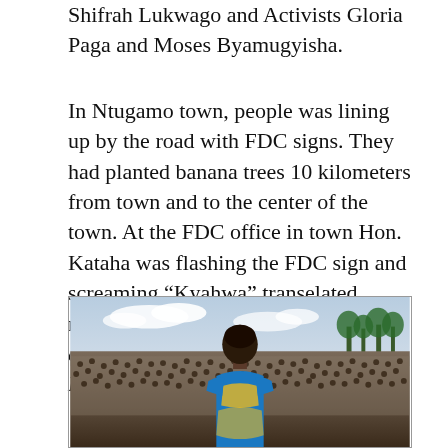Shifrah Lukwago and Activists Gloria Paga and Moses Byamugyisha.
In Ntugamo town, people was lining up by the road with FDC signs. They had planted banana trees 10 kilometers from town and to the center of the town. At the FDC office in town Hon. Kataha was flashing the FDC sign and screaming “Kyahwa” transelated means “It’s finished”. In the same time even DP supports showed support for Dr. Kizza Besigye.
[Figure (photo): A person seen from behind wearing a blue and yellow patterned garment, standing before a massive crowd of people gathered outdoors with trees and sky in the background.]